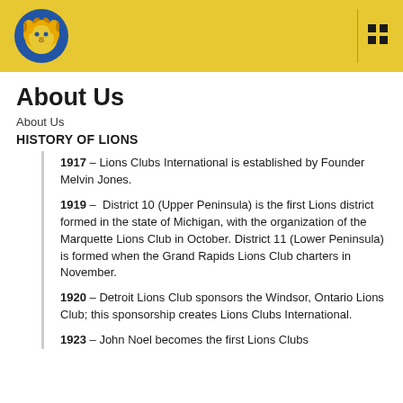Lions Club logo and navigation menu
About Us
About Us
HISTORY OF LIONS
1917 – Lions Clubs International is established by Founder Melvin Jones.
1919 – District 10 (Upper Peninsula) is the first Lions district formed in the state of Michigan, with the organization of the Marquette Lions Club in October. District 11 (Lower Peninsula) is formed when the Grand Rapids Lions Club charters in November.
1920 – Detroit Lions Club sponsors the Windsor, Ontario Lions Club; this sponsorship creates Lions Clubs International.
1923 – John Noel becomes the first Lions Clubs